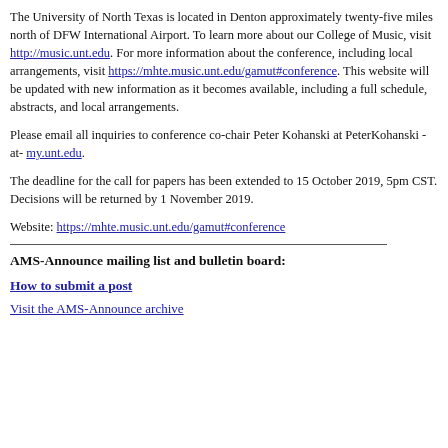The University of North Texas is located in Denton approximately twenty-five miles north of DFW International Airport. To learn more about our College of Music, visit http://music.unt.edu. For more information about the conference, including local arrangements, visit https://mhte.music.unt.edu/gamut#conference. This website will be updated with new information as it becomes available, including a full schedule, abstracts, and local arrangements.
Please email all inquiries to conference co-chair Peter Kohanski at PeterKohanski -at- my.unt.edu.
The deadline for the call for papers has been extended to 15 October 2019, 5pm CST. Decisions will be returned by 1 November 2019.
Website: https://mhte.music.unt.edu/gamut#conference
AMS-Announce mailing list and bulletin board:
How to submit a post
Visit the AMS-Announce archive